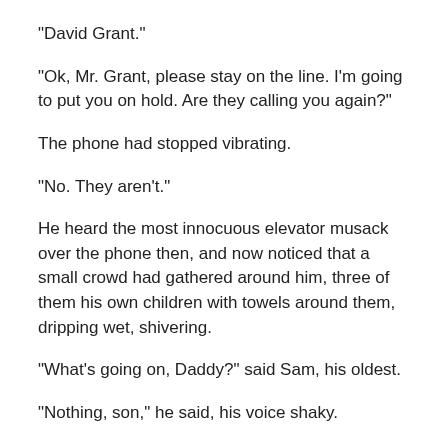“David Grant.”
“Ok, Mr. Grant, please stay on the line.  I’m going to put you on hold.  Are they calling you again?”
The phone had stopped vibrating.
“No.  They aren’t.”
He heard the most innocuous elevator musack over the phone then, and now noticed that a small crowd had gathered around him, three of them his own children with towels around them, dripping wet, shivering.
“What’s going on, Daddy?” said Sam, his oldest.
“Nothing, son,” he said, his voice shaky.
“But you said something about a terrorist attack,” said a